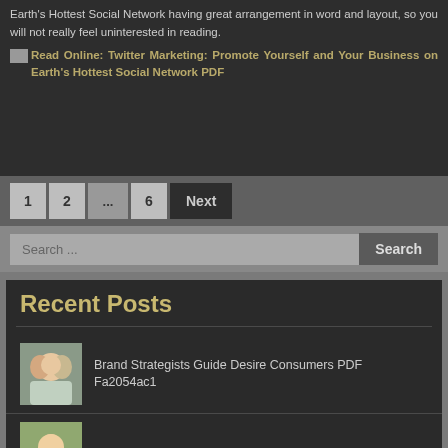Earth's Hottest Social Network having great arrangement in word and layout, so you will not really feel uninterested in reading.
Read Online: Twitter Marketing: Promote Yourself and Your Business on Earth's Hottest Social Network PDF
1
2
...
6
Next
Search ...
Recent Posts
Brand Strategists Guide Desire Consumers PDF Fa2054ac1
Online Matchmaking Monica T Whitty PDF F07c2004b